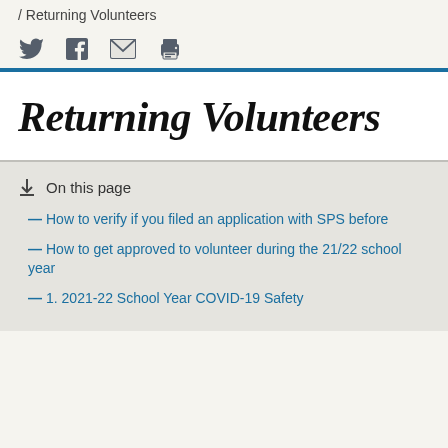/ Returning Volunteers
[Figure (illustration): Social sharing icons: Twitter bird, Facebook f, email envelope, print printer]
Returning Volunteers
On this page
How to verify if you filed an application with SPS before
How to get approved to volunteer during the 21/22 school year
1. 2021-22 School Year COVID-19 Safety